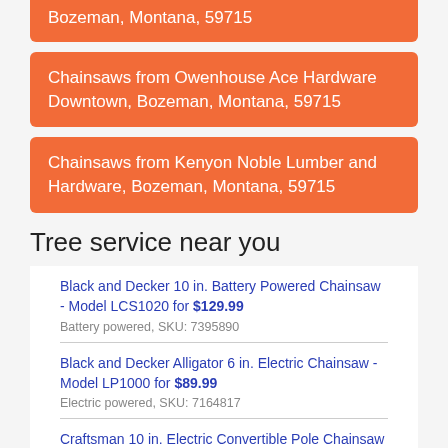Chainsaws from Owenhouse Ace Hardware Downtown, Bozeman, Montana, 59715
Chainsaws from Kenyon Noble Lumber and Hardware, Bozeman, Montana, 59715
Tree service near you
Black and Decker 10 in. Battery Powered Chainsaw - Model LCS1020 for $129.99
Battery powered, SKU: 7395890
Black and Decker Alligator 6 in. Electric Chainsaw - Model LP1000 for $89.99
Electric powered, SKU: 7164817
Craftsman 10 in. Electric Convertible Pole Chainsaw - Model CMECSP610 for $119.99
Electric Pole powered, SKU: 7006712
Craftsman 14 in. Electric Chainsaw - Model